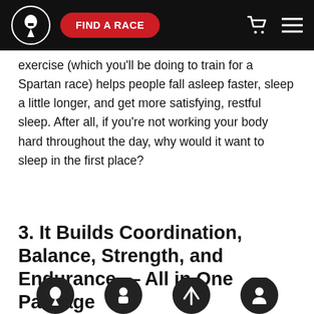FIND A RACE
exercise (which you'll be doing to train for a Spartan race) helps people fall asleep faster, sleep a little longer, and get more satisfying, restful sleep. After all, if you're not working your body hard throughout the day, why would it want to sleep in the first place?
3. It Builds Coordination, Balance, Strength, and Endurance — All in One Package
[Figure (illustration): Four circular dark icons partially visible at the bottom of the page]